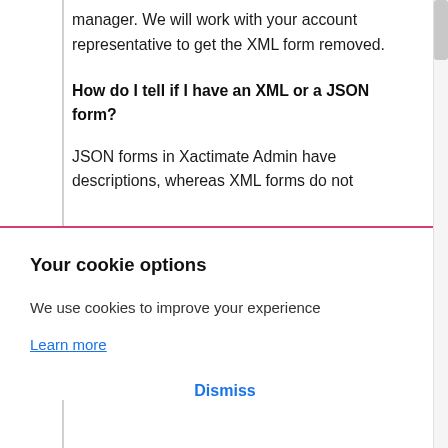manager. We will work with your account representative to get the XML form removed.
How do I tell if I have an XML or a JSON form?
JSON forms in Xactimate Admin have descriptions, whereas XML forms do not
Your cookie options
We use cookies to improve your experience
Learn more
Dismiss